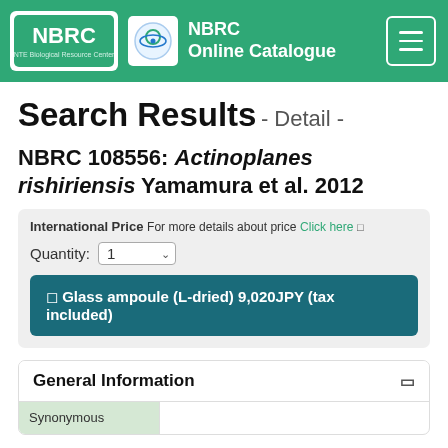NBRC Online Catalogue
Search Results - Detail -
NBRC 108556: Actinoplanes rishiriensis Yamamura et al. 2012
International Price For more details about price Click here
Quantity: 1
Glass ampoule (L-dried) 9,020JPY (tax included)
General Information
Synonymous